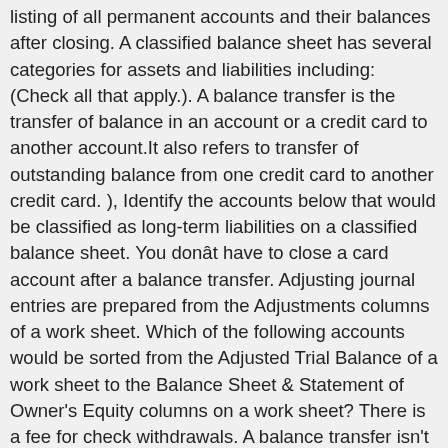listing of all permanent accounts and their balances after closing. A classified balance sheet has several categories for assets and liabilities including: (Check all that apply.). A balance transfer is the transfer of balance in an account or a credit card to another account.It also refers to transfer of outstanding balance from one credit card to another credit card. ), Identify the accounts below that would be classified as long-term liabilities on a classified balance sheet. You donât have to close a card account after a balance transfer. Adjusting journal entries are prepared from the Adjustments columns of a work sheet. Which of the following accounts would be sorted from the Adjusted Trial Balance of a work sheet to the Balance Sheet & Statement of Owner's Equity columns on a work sheet? There is a fee for check withdrawals. A balance transfer isn't as quick as making a credit card purchase. The closing process is a helpful step in preparing financial statements. It is important to â¦ When does the closing process take place? Describe your understanding of the closing process by identifying the correct steps below. The process transfers these temporary